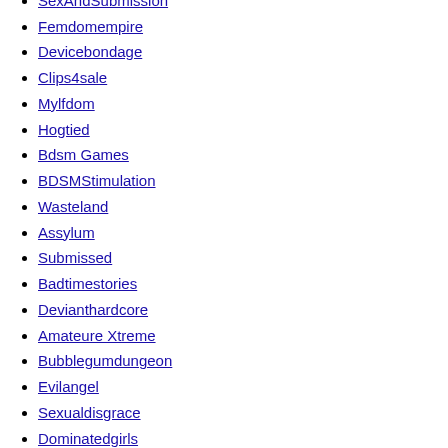PascalsSubSluts
SexAndSubmission
Femdomempire
Devicebondage
Clips4sale
Mylfdom
Hogtied
Bdsm Games
BDSMStimulation
Wasteland
Assylum
Submissed
Badtimestories
Devianthardcore
Amateure Xtreme
Bubblegumdungeon
Evilangel
Sexualdisgrace
Dominatedgirls
HelplessTeens
Darkside Magazine
Houseoftaboo
BDSM-Club
TheBondageFiles
Xhamster